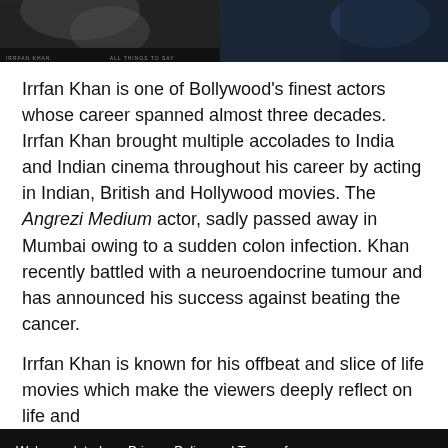[Figure (photo): Two dark cinematic movie/promotional images side by side at the top of the page]
Irrfan Khan is one of Bollywood's finest actors whose career spanned almost three decades. Irrfan Khan brought multiple accolades to India and Indian cinema throughout his career by acting in Indian, British and Hollywood movies. The Angrezi Medium actor, sadly passed away in Mumbai owing to a sudden colon infection. Khan recently battled with a neuroendocrine tumour and has announced his success against beating the cancer.
Irrfan Khan is known for his offbeat and slice of life movies which make the viewers deeply reflect on life and
We've updated our Privacy Policy and Terms of Service to make sure the usage of users data in a more clearer way. Click "Okay, I
Okay, I Understand
Shares